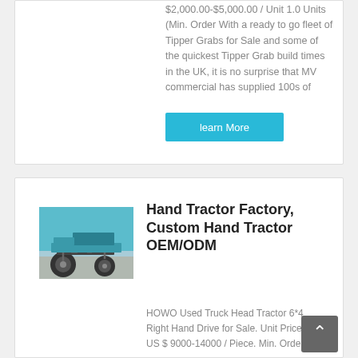$2,000.00-$5,000.00 / Unit 1.0 Units (Min. Order With a ready to go fleet of Tipper Grabs for Sale and some of the quickest Tipper Grab build times in the UK, it is no surprise that MV commercial has supplied 100s of
learn More
[Figure (photo): Underside view of a heavy truck showing tires, axles and teal/green chassis components]
Hand Tractor Factory, Custom Hand Tractor OEM/ODM
HOWO Used Truck Head Tractor 6*4 Right Hand Drive for Sale. Unit Price: US $ 9000-14000 / Piece. Min. Order: